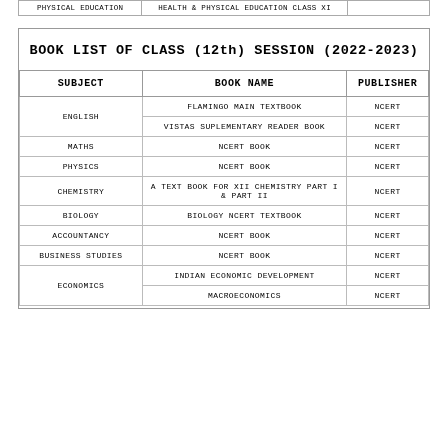| PHYSICAL EDUCATION | HEALTH & PHYSICAL EDUCATION CLASS XI |  |
| --- | --- | --- |
BOOK LIST OF CLASS (12th) SESSION (2022-2023)
| SUBJECT | BOOK NAME | PUBLISHER |
| --- | --- | --- |
| ENGLISH | FLAMINGO MAIN TEXTBOOK | NCERT |
| ENGLISH | VISTAS SUPLEMENTARY READER BOOK | NCERT |
| MATHS | NCERT BOOK | NCERT |
| PHYSICS | NCERT BOOK | NCERT |
| CHEMISTRY | A TEXT BOOK FOR XII CHEMISTRY PART I & PART II | NCERT |
| BIOLOGY | BIOLOGY NCERT TEXTBOOK | NCERT |
| ACCOUNTANCY | NCERT BOOK | NCERT |
| BUSINESS STUDIES | NCERT BOOK | NCERT |
| ECONOMICS | INDIAN ECONOMIC DEVELOPMENT | NCERT |
| ECONOMICS | MACROECONOMICS | NCERT |